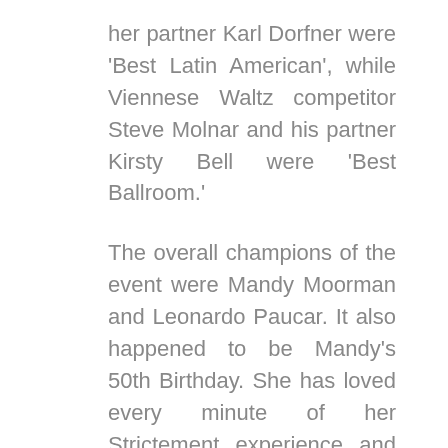her partner Karl Dorfner were 'Best Latin American', while Viennese Waltz competitor Steve Molnar and his partner Kirsty Bell were 'Best Ballroom.'
The overall champions of the event were Mandy Moorman and Leonardo Paucar. It also happened to be Mandy's 50th Birthday. She has loved every minute of her Strictement experience and says, 'Believe me when I say this birthday will be remembered forever!'
Each year we are staggered by the effort and energy that goes into this fun event, which just seems to get better and better. We are delighted and grateful for the money raised and hugely thankful to our wonderful loyal